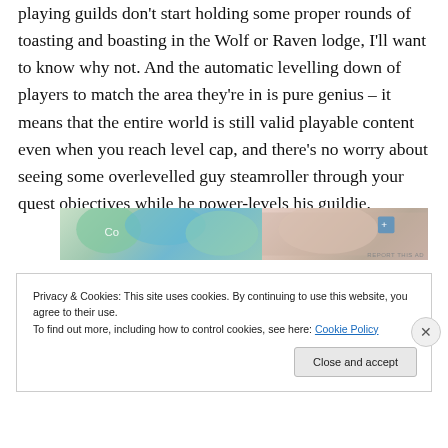playing guilds don't start holding some proper rounds of toasting and boasting in the Wolf or Raven lodge, I'll want to know why not. And the automatic levelling down of players to match the area they're in is pure genius – it means that the entire world is still valid playable content even when you reach level cap, and there's no worry about seeing some overlevelled guy steamroller through your quest objectives while he power-levels his guildie.
[Figure (photo): Advertisement banner with colorful imagery, partially visible. 'REPORT THIS AD' text in bottom right.]
Privacy & Cookies: This site uses cookies. By continuing to use this website, you agree to their use.
To find out more, including how to control cookies, see here: Cookie Policy
Close and accept